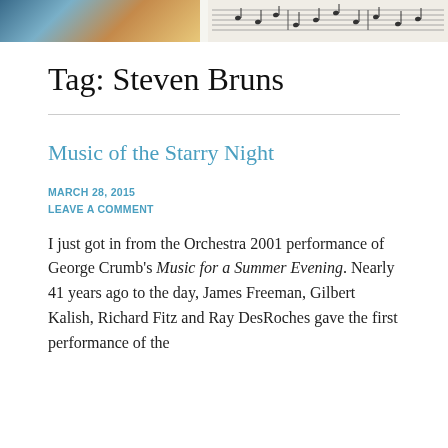[Figure (photo): Blog page header banner: left half shows a colorful painting/photo, right half shows a music score manuscript.]
Tag: Steven Bruns
Music of the Starry Night
MARCH 28, 2015
LEAVE A COMMENT
I just got in from the Orchestra 2001 performance of George Crumb's Music for a Summer Evening. Nearly 41 years ago to the day, James Freeman, Gilbert Kalish, Richard Fitz and Ray DesRoches gave the first performance of the